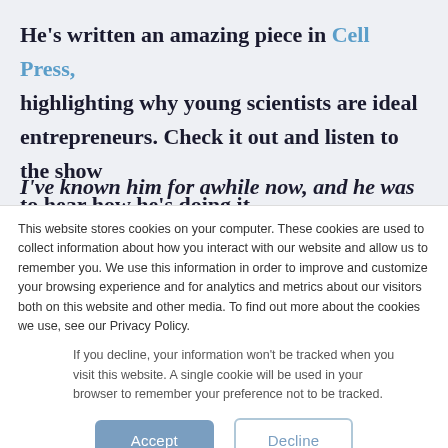He's written an amazing piece in Cell Press, highlighting why young scientists are ideal entrepreneurs. Check it out and listen to the show to hear how he's doing it.
I've known him for awhile now, and he was gracious
This website stores cookies on your computer. These cookies are used to collect information about how you interact with our website and allow us to remember you. We use this information in order to improve and customize your browsing experience and for analytics and metrics about our visitors both on this website and other media. To find out more about the cookies we use, see our Privacy Policy.
If you decline, your information won't be tracked when you visit this website. A single cookie will be used in your browser to remember your preference not to be tracked.